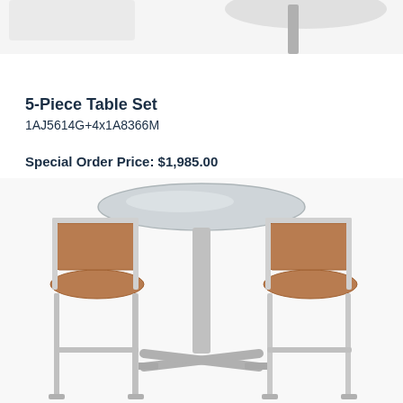[Figure (photo): Top portion of a bar table set product image, showing a round glass top table with chrome/silver legs, cropped at top of page]
5-Piece Table Set
1AJ5614G+4x1A8366M
Special Order Price: $1,985.00
Sale Price: $1,985.00
[Figure (photo): A 5-piece bar table set featuring a round glass-top table on a chrome X-base pedestal, flanked by two bar stools with tan/brown upholstered seats and backs on chrome square frames]